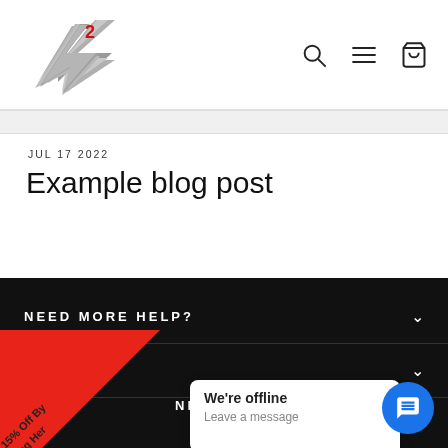[Figure (logo): A2 brand logo with lightning bolt and red superscript 2]
[Figure (screenshot): Navigation icons: search (magnifying glass), hamburger menu, shopping cart]
JUL 17 2022
Example blog post
NEED MORE HELP?
N MENU
[Figure (illustration): Red diagonal promotional banner with text: Get 15% Off By Clicking Her]
We're offline
Leave a message
ND S